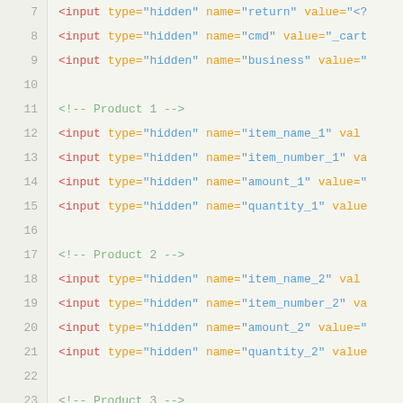[Figure (screenshot): Syntax-highlighted HTML/XML code snippet showing lines 7 through 31. Lines show hidden input fields for a PayPal cart form with product entries (Product 1, Product 2, Product 3) including item_name, item_number, amount, and quantity fields, followed by an image input and closing form tag.]